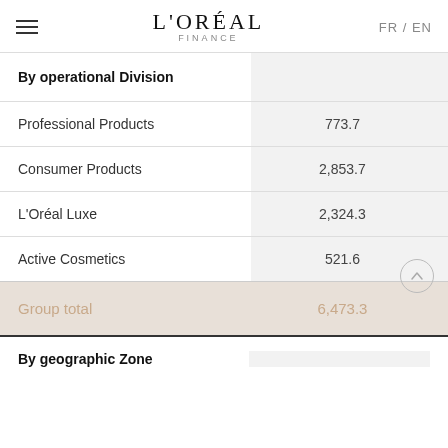L'ORÉAL FINANCE  FR / EN
| By operational Division |  |
| --- | --- |
| Professional Products | 773.7 |
| Consumer Products | 2,853.7 |
| L'Oréal Luxe | 2,324.3 |
| Active Cosmetics | 521.6 |
| Group total | 6,473.3 |
By geographic Zone